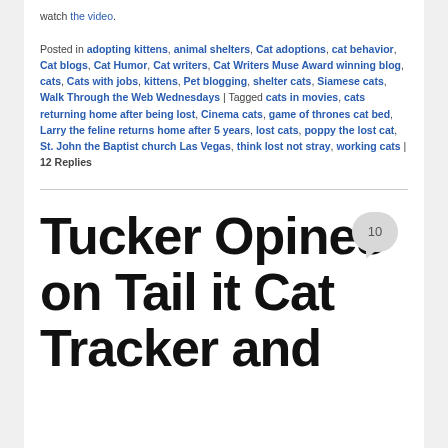watch the video. Posted in adopting kittens, animal shelters, Cat adoptions, cat behavior, Cat blogs, Cat Humor, Cat writers, Cat Writers Muse Award winning blog, cats, Cats with jobs, kittens, Pet blogging, shelter cats, Siamese cats, Walk Through the Web Wednesdays | Tagged cats in movies, cats returning home after being lost, Cinema cats, game of thrones cat bed, Larry the feline returns home after 5 years, lost cats, poppy the lost cat, St. John the Baptist church Las Vegas, think lost not stray, working cats | 12 Replies
Tucker Opines on Tail it Cat Tracker and